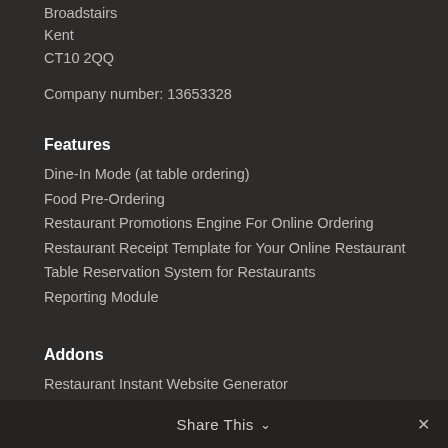Broadstairs
Kent
CT10 2QQ

Company number: 13653328
Features
Dine-In Mode (at table ordering)
Food Pre-Ordering
Restaurant Promotions Engine For Online Ordering
Restaurant Receipt Template for Your Online Restaurant
Table Reservation System for Restaurants
Reporting Module
Addons
Restaurant Instant Website Generator
Branded Mobile App
Online payments
SEO Tools
EPOS
Share This ∨  ✕